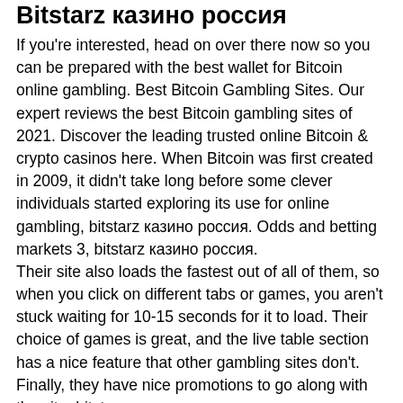Bitstarz казино россия
If you're interested, head on over there now so you can be prepared with the best wallet for Bitcoin online gambling. Best Bitcoin Gambling Sites. Our expert reviews the best Bitcoin gambling sites of 2021. Discover the leading trusted online Bitcoin & crypto casinos here. When Bitcoin was first created in 2009, it didn't take long before some clever individuals started exploring its use for online gambling, bitstarz казино россия. Odds and betting markets 3, bitstarz казино россия.
Their site also loads the fastest out of all of them, so when you click on different tabs or games, you aren't stuck waiting for 10-15 seconds for it to load. Their choice of games is great, and the live table section has a nice feature that other gambling sites don't. Finally, they have nice promotions to go along with the site, bitstarz казино россия.
How to get free spins on